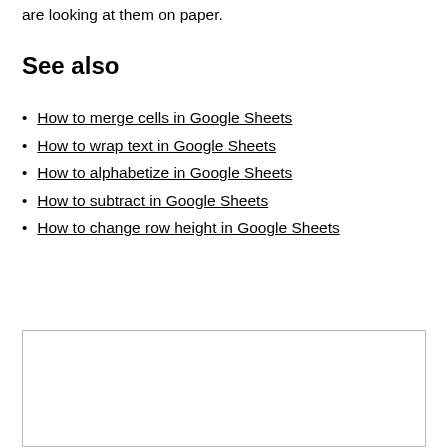are looking at them on paper.
See also
How to merge cells in Google Sheets
How to wrap text in Google Sheets
How to alphabetize in Google Sheets
How to subtract in Google Sheets
How to change row height in Google Sheets
[Figure (other): Empty bordered box/advertisement placeholder]